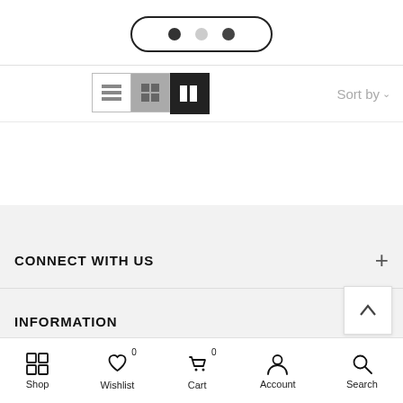[Figure (screenshot): Pagination pill with three dots (dark, light, dark) inside a rounded rectangle border]
[Figure (screenshot): View toggle buttons (list, grid, two-column) and Sort by dropdown label]
CONNECT WITH US
INFORMATION
Shop  Wishlist 0  Cart 0  Account  Search